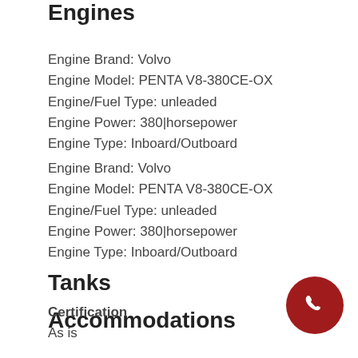Engines
Engine Brand: Volvo
Engine Model: PENTA V8-380CE-OX
Engine/Fuel Type: unleaded
Engine Power: 380|horsepower
Engine Type: Inboard/Outboard
Engine Brand: Volvo
Engine Model: PENTA V8-380CE-OX
Engine/Fuel Type: unleaded
Engine Power: 380|horsepower
Engine Type: Inboard/Outboard
Tanks
Accommodations
Certification
As is